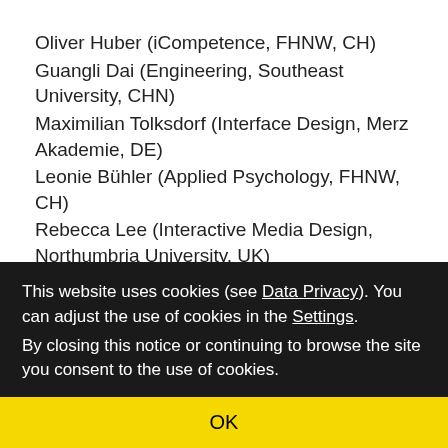Oliver Huber (iCompetence, FHNW, CH)
Guangli Dai (Engineering, Southeast University, CHN)
Maximilian Tolksdorf (Interface Design, Merz Akademie, DE)
Leonie Bühler (Applied Psychology, FHNW, CH)
Rebecca Lee (Interactive Media Design, Northumbria University, UK)
Coach:
Joost Bottema
This website uses cookies (see Data Privacy). You can adjust the use of cookies in the Settings. By closing this notice or continuing to browse the site you consent to the use of cookies.
OK